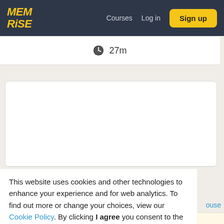MEM RiSE — Courses  Log in  Sign up
🕐 27m
This website uses cookies and other technologies to enhance your experience and for web analytics. To find out more or change your choices, view our Cookie Policy. By clicking I agree you consent to the use of such cookies.
I agree